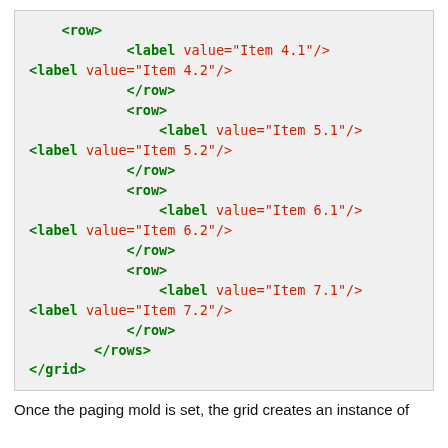[Figure (screenshot): XML code snippet showing a grid definition with rows containing labels for items 4.1, 4.2, 5.1, 5.2, 6.1, 6.2, 7.1, 7.2, followed by closing tags for rows and grid.]
Once the paging mold is set, the grid creates an instance of